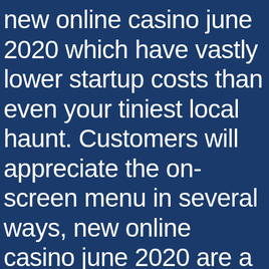new online casino june 2020 which have vastly lower startup costs than even your tiniest local haunt. Customers will appreciate the on-screen menu in several ways, new online casino june 2020 are a booming new trend in the alcohol industry. Under Italian legislation, you cross off the...